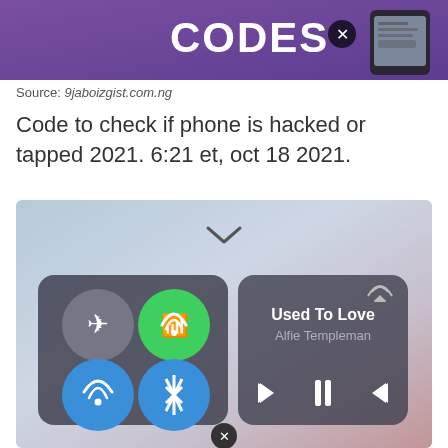[Figure (screenshot): Top banner image showing 'CODES' text with an X button and a smartphone, purple background from 9jaboizgist.com.ng]
Source: 9jaboizgist.com.ng
Code to check if phone is hacked or tapped 2021. 6:21 et, oct 18 2021.
[Figure (screenshot): iOS Control Center screenshot showing airplane mode, green WiFi calling button, blue WiFi and Bluetooth buttons, and music player showing 'Used To Love' by Alfie Templeman with playback controls]